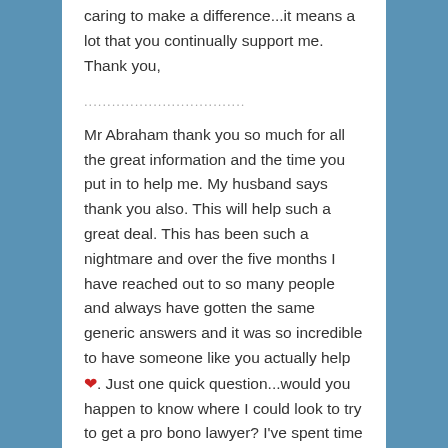caring to make a difference...it means a lot that you continually support me. Thank you,
................................
Mr Abraham thank you so much for all the great information and the time you put in to help me. My husband says thank you also. This will help such a great deal. This has been such a nightmare and over the five months I have reached out to so many people and always have gotten the same generic answers and it was so incredible to have someone like you actually help ❤. Just one quick question...would you happen to know where I could look to try to get a pro bono lawyer? I've spent time